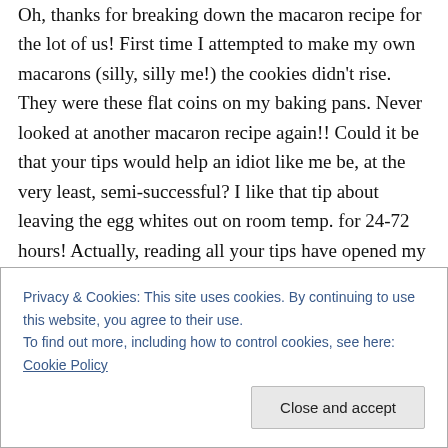Oh, thanks for breaking down the macaron recipe for the lot of us! First time I attempted to make my own macarons (silly, silly me!) the cookies didn't rise. They were these flat coins on my baking pans. Never looked at another macaron recipe again!! Could it be that your tips would help an idiot like me be, at the very least, semi-successful? I like that tip about leaving the egg whites out on room temp. for 24-72 hours! Actually, reading all your tips have opened my eyes on so many things. Case in point: I thought
Privacy & Cookies: This site uses cookies. By continuing to use this website, you agree to their use.
To find out more, including how to control cookies, see here: Cookie Policy